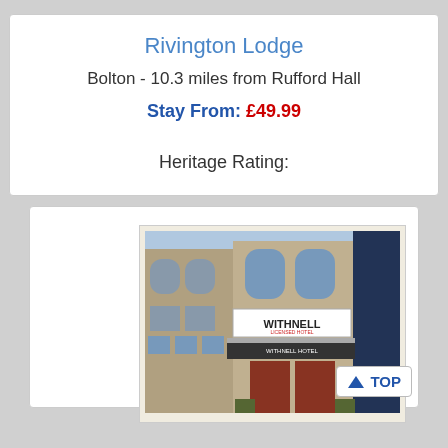Rivington Lodge
Bolton - 10.3 miles from Rufford Hall
Stay From: £49.99
Heritage Rating:
[Figure (photo): Exterior photo of Withnell Licensed Hotel, a multi-storey brick building with awnings and signage reading WITHNELL LICENSED HOTEL and WITHNELL HOTEL]